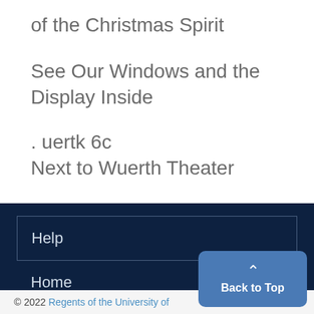of the Christmas Spirit
See Our Windows and the Display Inside
. uertk 6c
Next to Wuerth Theater
Help
Home
© 2022 Regents of the University of
Back to Top